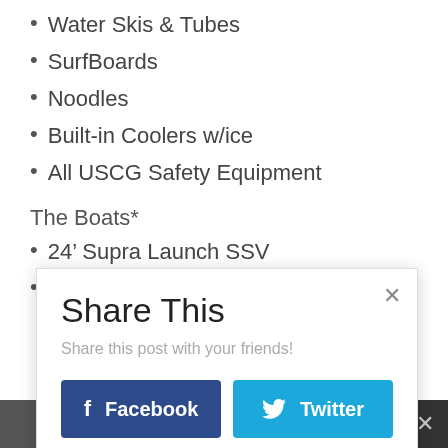Water Skis & Tubes
SurfBoards
Noodles
Built-in Coolers w/ice
All USCG Safety Equipment
The Boats*
24’ Supra Launch SSV
24’ Centurion Enzo
Share This
Share this post with your friends!
Facebook
Twitter